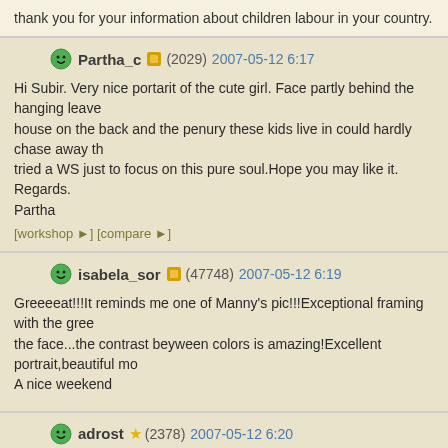thank you for your information about children labour in your country.
Partha_c (2029) 2007-05-12 6:17
Hi Subir. Very nice portarit of the cute girl. Face partly behind the hanging leave house on the back and the penury these kids live in could hardly chase away th tried a WS just to focus on this pure soul.Hope you may like it. Regards. Partha
[workshop] [compare]
isabela_sor (47748) 2007-05-12 6:19
Greeeeat!!!It reminds me one of Manny's pic!!!Exceptional framing with the gree the face...the contrast beyween colors is amazing!Excellent portrait,beautiful mo A nice weekend
adrost (2378) 2007-05-12 6:20
Hello S.

Very nice child portrait.
Colors of course too.